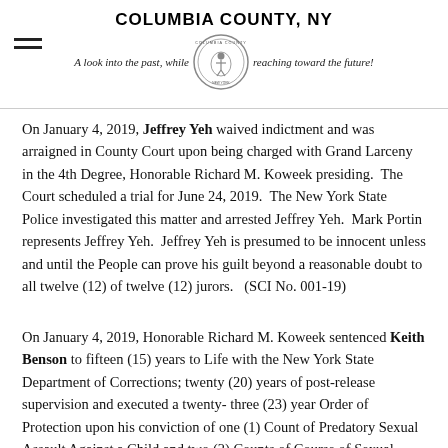COLUMBIA COUNTY, NY — A look into the past, while reaching toward the future!
On January 4, 2019, Jeffrey Yeh waived indictment and was arraigned in County Court upon being charged with Grand Larceny in the 4th Degree, Honorable Richard M. Koweek presiding.  The Court scheduled a trial for June 24, 2019.  The New York State Police investigated this matter and arrested Jeffrey Yeh.  Mark Portin represents Jeffrey Yeh.  Jeffrey Yeh is presumed to be innocent unless and until the People can prove his guilt beyond a reasonable doubt to all twelve (12) of twelve (12) jurors.   (SCI No. 001-19)
On January 4, 2019, Honorable Richard M. Koweek sentenced Keith Benson to fifteen (15) years to Life with the New York State Department of Corrections; twenty (20) years of post-release supervision and executed a twenty-three (23) year Order of Protection upon his conviction of one (1) Count of Predatory Sexual Assault Against a Child and two (2) Counts of Course of Sexual Conduct Against a